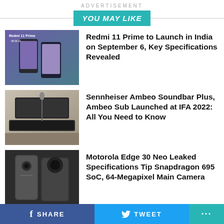ADVERTISEMENT
YOU MAY LIKE
[Figure (photo): Redmi 11 Prime smartphone promotional image with countdown date 08 09 22]
Redmi 11 Prime to Launch in India on September 6, Key Specifications Revealed
[Figure (photo): Sennheiser Ambeo Soundbar Plus on a shelf with a TV]
Sennheiser Ambeo Soundbar Plus, Ambeo Sub Launched at IFA 2022: All You Need to Know
[Figure (photo): Motorola Edge 30 Neo in gray color, back view]
Motorola Edge 30 Neo Leaked Specifications Tip Snapdragon 695 SoC, 64-Megapixel Main Camera
[Figure (photo): Nokia phones display at store or IFA 2022 booth]
Nokia X30 5G Launched at IFA 2022 Alongside Nokia G60 5G, Nokia C31, More: Details
SHARE   TWEET   ...